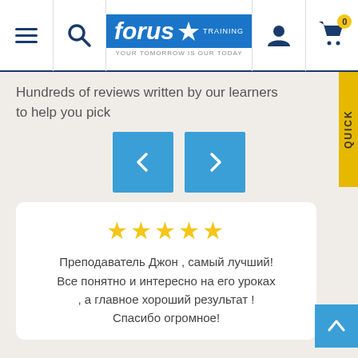Forus Training — navigation bar with menu, search, logo, account, cart
Hundreds of reviews written by our learners to help you pick
[Figure (screenshot): Two blue navigation arrow buttons (left chevron and right chevron) for carousel navigation]
★★★★★
Преподаватель Джон , самый лучший! Все понятно и интересно на его уроках , а главное хороший результат ! Спасибо огромное!